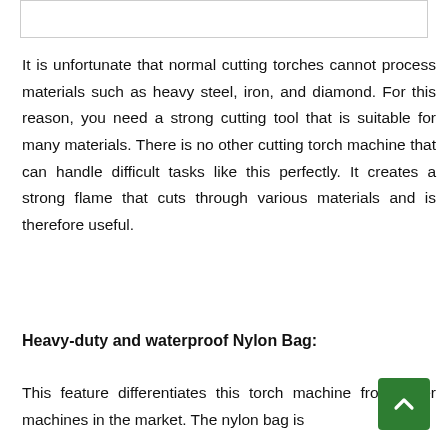[Figure (other): Empty bordered box at top of page]
It is unfortunate that normal cutting torches cannot process materials such as heavy steel, iron, and diamond. For this reason, you need a strong cutting tool that is suitable for many materials. There is no other cutting torch machine that can handle difficult tasks like this perfectly. It creates a strong flame that cuts through various materials and is therefore useful.
Heavy-duty and waterproof Nylon Bag:
This feature differentiates this torch machine from other machines in the market. The nylon bag is